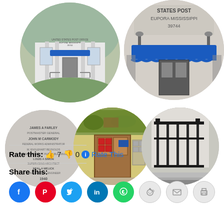[Figure (photo): Circular photo of United States Post Office building in Eupora, Mississippi - white building with blue awning, exterior front view]
[Figure (photo): Circular photo close-up of STATES POST EUPORA MISSISSIPPI 39744 signage on building with blue awning and entrance]
[Figure (photo): Circular photo of a cornerstone or plaque with text: JAMES A FARLEY POSTMASTER GENERAL, JOHN M CARMODY FEDERAL WORKS ADMINISTRATOR, W. ENGLEHART REYNOLDS COMMISSIONER OF PUBLIC BUILDINGS, LOUIS A SIMON SUPERVISING ARCHITECT, NEAL A MELICK CONSTRUCTION ENGINEER, 1940]
[Figure (photo): Circular photo of interior mural above a door showing rural/agricultural scene, with wooden door and mailboxes]
[Figure (photo): Circular photo of metal railing/handrail at building entrance with steps]
Rate this: 👍 7 👎 0 ℹ Rate This
Share this:
Facebook, Pinterest, Twitter, LinkedIn, WhatsApp, Reddit, Email, Print share buttons